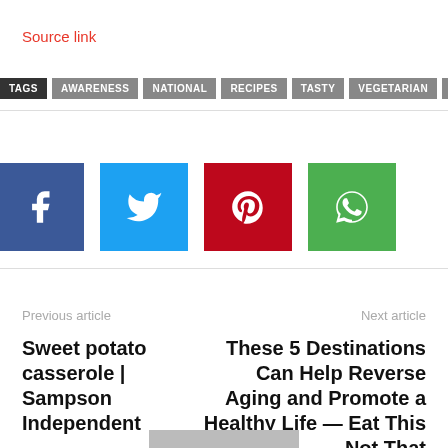Source link
TAGS  AWARENESS  NATIONAL  RECIPES  TASTY  VEGETARIAN  WEEK
[Figure (other): Social media share buttons: Facebook (blue), Twitter (cyan), Pinterest (red), WhatsApp (green)]
Previous article
Sweet potato casserole | Sampson Independent
Next article
These 5 Destinations Can Help Reverse Aging and Promote a Healthy Life — Eat This Not That